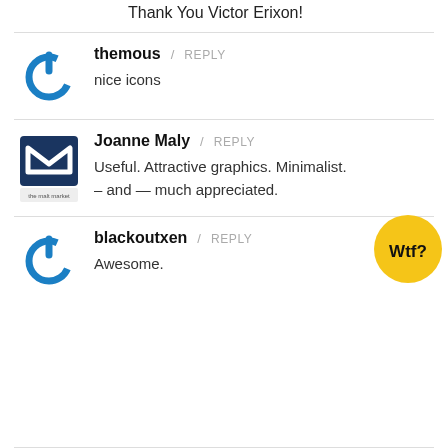Thank You Victor Erixon!
themous / REPLY
nice icons
Joanne Maly / REPLY
Useful. Attractive graphics. Minimalist. – and — much appreciated.
blackoutxen / REPLY
Awesome.